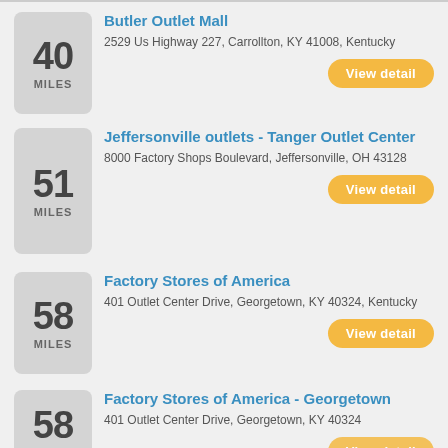40 MILES - Butler Outlet Mall - 2529 Us Highway 227, Carrollton, KY 41008, Kentucky - View detail
51 MILES - Jeffersonville outlets - Tanger Outlet Center - 8000 Factory Shops Boulevard, Jeffersonville, OH 43128 - View detail
58 MILES - Factory Stores of America - 401 Outlet Center Drive, Georgetown, KY 40324, Kentucky - View detail
58 MILES - Factory Stores of America - Georgetown - 401 Outlet Center Drive, Georgetown, KY 40324 - View detail